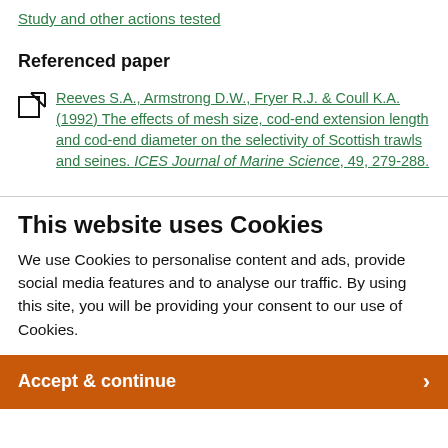Study and other actions tested
Referenced paper
Reeves S.A., Armstrong D.W., Fryer R.J. & Coull K.A. (1992) The effects of mesh size, cod-end extension length and cod-end diameter on the selectivity of Scottish trawls and seines. ICES Journal of Marine Science, 49, 279-288.
This website uses Cookies
We use Cookies to personalise content and ads, provide social media features and to analyse our traffic. By using this site, you will be providing your consent to our use of Cookies.
Accept & continue